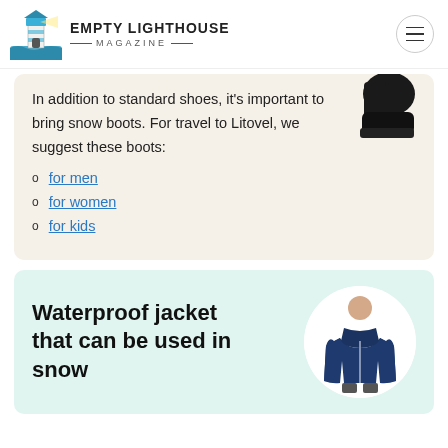EMPTY LIGHTHOUSE MAGAZINE
In addition to standard shoes, it's important to bring snow boots. For travel to Litovel, we suggest these boots:
for men
for women
for kids
Waterproof jacket that can be used in snow